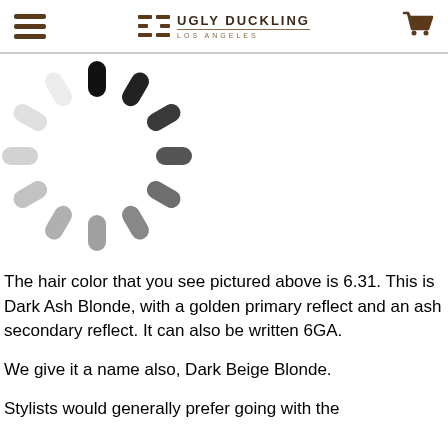Ugly Duckling Los Angeles
[Figure (illustration): Loading spinner animation — a circular arrangement of rounded rectangular dashes in varying shades from black to light gray, indicating a loading state.]
The hair color that you see pictured above is 6.31. This is Dark Ash Blonde, with a golden primary reflect and an ash secondary reflect. It can also be written 6GA.
We give it a name also, Dark Beige Blonde.
Stylists would generally prefer going with the